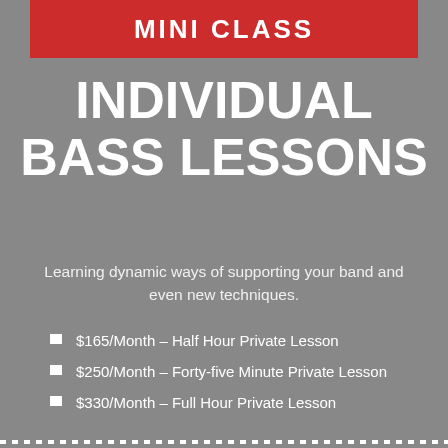MINI CLASS
INDIVIDUAL BASS LESSONS
Learning dynamic ways of supporting your band and even new techniques.
$165/Month – Half Hour Private Lesson
$250/Month – Forty-five Minute Private Lesson
$330/Month – Full Hour Private Lesson